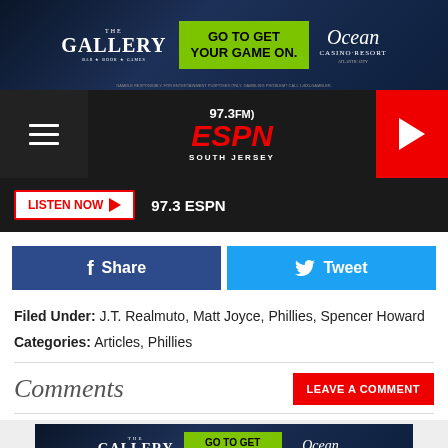[Figure (other): The Gallery / Go To Get Your Game On / Ocean Casino Resort advertisement banner]
[Figure (logo): 97.3 FM ESPN South Jersey radio station logo with navigation bar and play button]
[Figure (other): LISTEN NOW button with 97.3 ESPN text]
[Figure (other): Facebook Share and Twitter Tweet social sharing buttons]
Filed Under: J.T. Realmuto, Matt Joyce, Phillies, Spencer Howard
Categories: Articles, Phillies
Comments
[Figure (other): LEAVE A COMMENT button (red)]
[Figure (other): Two stacked The Gallery / Go To Get Your Game On / Ocean Casino Resort advertisement banners]